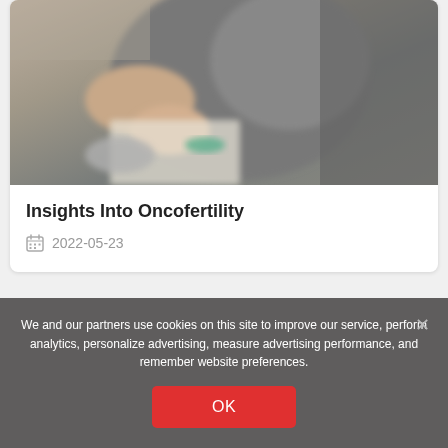[Figure (photo): Blurred photo of a pregnant woman at a medical consultation; a stethoscope is visible in the foreground, and someone is writing on a document.]
Insights Into Oncofertility
2022-05-23
We and our partners use cookies on this site to improve our service, perform analytics, personalize advertising, measure advertising performance, and remember website preferences.
OK